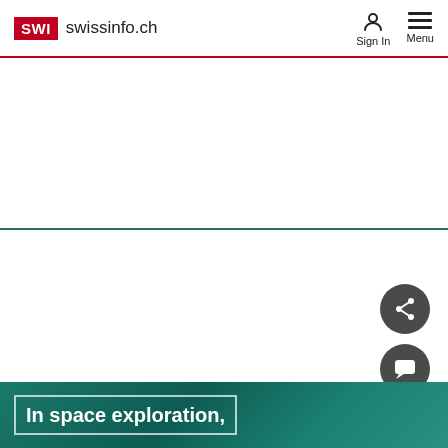SWI swissinfo.ch
[Figure (screenshot): swissinfo.ch website header with SWI logo in red box, site name, Sign In and Menu icons on the right, red horizontal separator line, and a teal/green banner at the bottom with the beginning of an article title 'In space exploration,' inside a white-bordered box]
In space exploration,